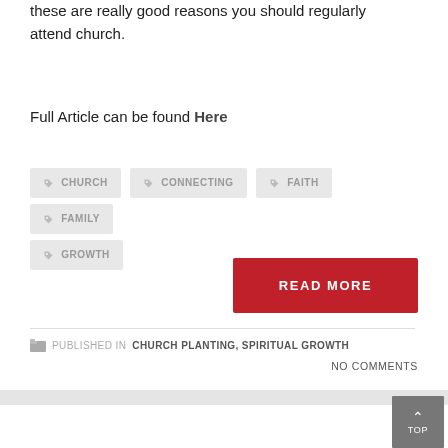these are really good reasons you should regularly attend church.
Full Article can be found Here
CHURCH
CONNECTING
FAITH
FAMILY
GROWTH
READ MORE
PUBLISHED IN CHURCH PLANTING, SPIRITUAL GROWTH
NO COMMENTS